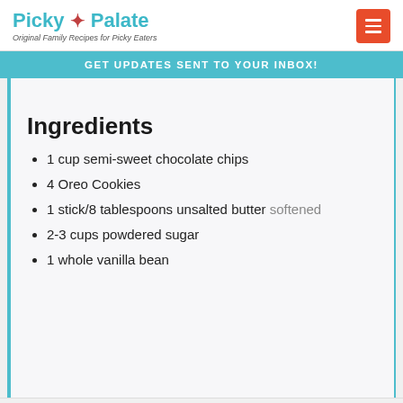Picky Palate — Original Family Recipes for Picky Eaters
GET UPDATES SENT TO YOUR INBOX!
Ingredients
1 cup semi-sweet chocolate chips
4 Oreo Cookies
1 stick/8 tablespoons unsalted butter softened
2-3 cups powdered sugar
1 whole vanilla bean